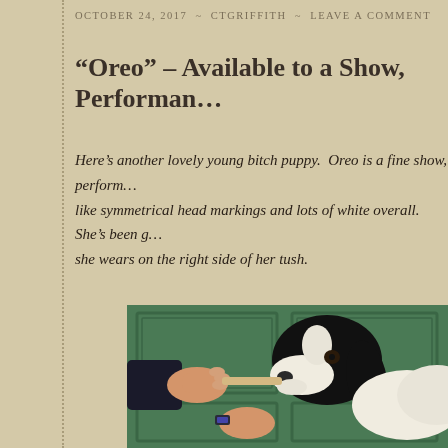OCTOBER 24, 2017 ~ CTGRIFFITH ~ LEAVE A COMMENT
“Oreo” – Available to a Show, Performa…
Here’s another lovely young bitch puppy.  Oreo is a fine show, performance candidate with wonderful type.  She has beautifully symmetrical head markings and lots of white overall.  She’s been getting a lot of attention for the cute little heart she wears on the right side of her tush.
[Figure (photo): A black and white spaniel puppy being hand-fed a treat by a person, with a green paneled door in the background.]